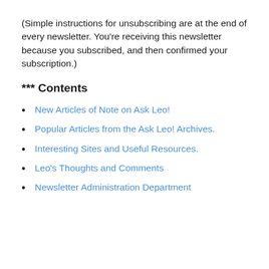(Simple instructions for unsubscribing are at the end of every newsletter. You're receiving this newsletter because you subscribed, and then confirmed your subscription.)
*** Contents
New Articles of Note on Ask Leo!
Popular Articles from the Ask Leo! Archives.
Interesting Sites and Useful Resources.
Leo's Thoughts and Comments
Newsletter Administration Department